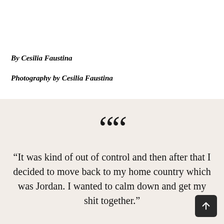By Cesilia Faustina
Photography by Cesilia Faustina
“It was kind of out of control and then after that I decided to move back to my home country which was Jordan. I wanted to calm down and get my shit together.”